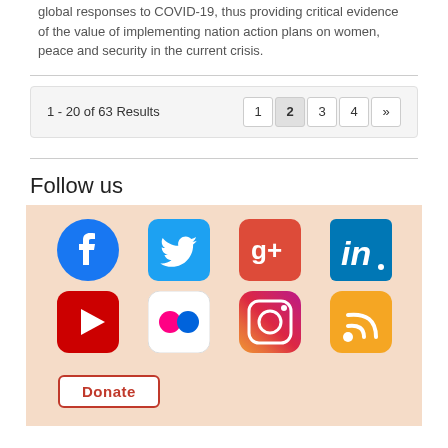global responses to COVID-19, thus providing critical evidence of the value of implementing nation action plans on women, peace and security in the current crisis.
1 - 20 of 63 Results
[Figure (screenshot): Pagination bar showing 1-20 of 63 Results with page buttons 1, 2, 3, 4 and a next arrow]
Follow us
[Figure (infographic): Social media icons on a peach/beige background: Facebook, Twitter, Google+, LinkedIn, YouTube, Flickr, Instagram, RSS feed. Also a Donate button at the bottom.]